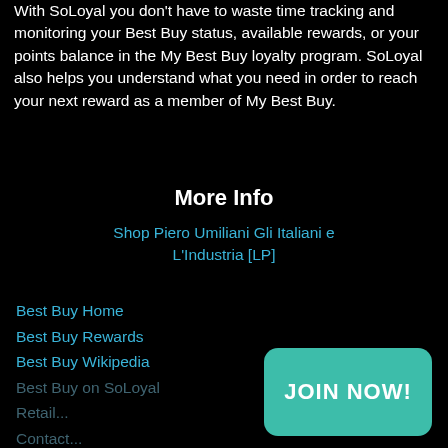With SoLoyal you don't have to waste time tracking and monitoring your Best Buy status, available rewards, or your points balance in the My Best Buy loyalty program. SoLoyal also helps you understand what you need in order to reach your next reward as a member of My Best Buy.
More Info
Shop Piero Umiliani Gli Italiani e L'Industria [LP]
Best Buy Home
Best Buy Rewards
Best Buy Wikipedia
Best Buy on SoLoyal
Retail...
Contact...
[Figure (other): Teal JOIN NOW! button overlaying the bottom-right portion of the page]